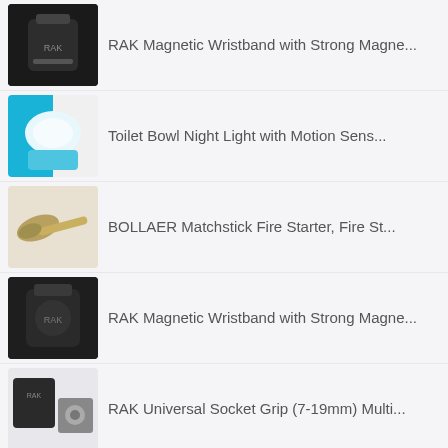RAK Magnetic Wristband with Strong Magne...
Toilet Bowl Night Light with Motion Sens...
BOLLAER Matchstick Fire Starter, Fire St...
RAK Magnetic Wristband with Strong Magne...
RAK Universal Socket Grip (7-19mm) Multi...
PRODIVE Premium Dry Top Snorkel Set - Im...
Whiskey Stones Gift Set - 8 Granite Chil...